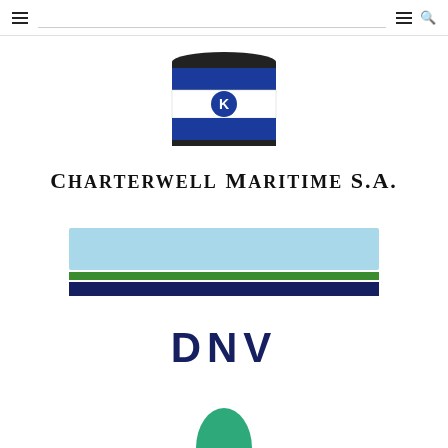Navigation header with hamburger menus and search icon
[Figure (logo): Charterwell Maritime S.A. logo with ship funnel graphic in blue and white stripes with K emblem, and company name in serif uppercase text]
[Figure (logo): DNV logo with light blue rectangle bar, green stripe, dark blue stripe, and DNV text in dark navy blue]
[Figure (logo): Partial green logo at bottom of page, partially visible]